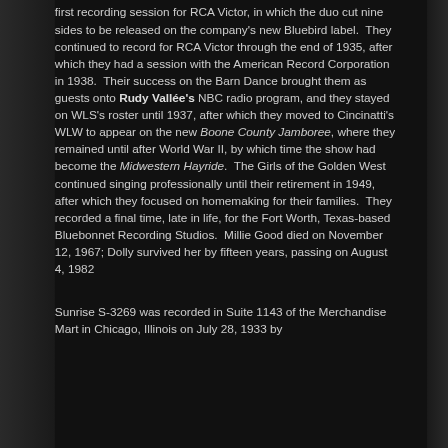first recording session for RCA Victor, in which the duo cut nine sides to be released on the company's new Bluebird label.  They continued to record for RCA Victor through the end of 1935, after which they had a session with the American Record Corporation in 1938.  Their success on the Barn Dance brought them as guests onto Rudy Vallée's NBC radio program, and they stayed on WLS's roster until 1937, after which they moved to Cincinatti's WLW to appear on the new Boone County Jamboree, where they remained until after World War II, by which time the show had become the Midwestern Hayride.  The Girls of the Golden West continued singing professionally until their retirement in 1949, after which they focused on homemaking for their families.  They recorded a final time, late in life, for the Fort Worth, Texas-based Bluebonnet Recording Studios.  Millie Good died on November 12, 1967; Dolly survived her by fifteen years, passing on August 4, 1982
Sunrise S-3269 was recorded in Suite 1143 of the Merchandise Mart in Chicago, Illinois on July 28, 1933 by